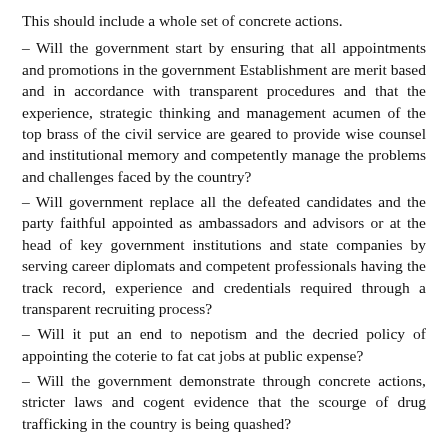This should include a whole set of concrete actions.
– Will the government start by ensuring that all appointments and promotions in the government Establishment are merit based and in accordance with transparent procedures and that the experience, strategic thinking and management acumen of the top brass of the civil service are geared to provide wise counsel and institutional memory and competently manage the problems and challenges faced by the country?
– Will government replace all the defeated candidates and the party faithful appointed as ambassadors and advisors or at the head of key government institutions and state companies by serving career diplomats and competent professionals having the track record, experience and credentials required through a transparent recruiting process?
– Will it put an end to nepotism and the decried policy of appointing the coterie to fat cat jobs at public expense?
– Will the government demonstrate through concrete actions, stricter laws and cogent evidence that the scourge of drug trafficking in the country is being quashed?